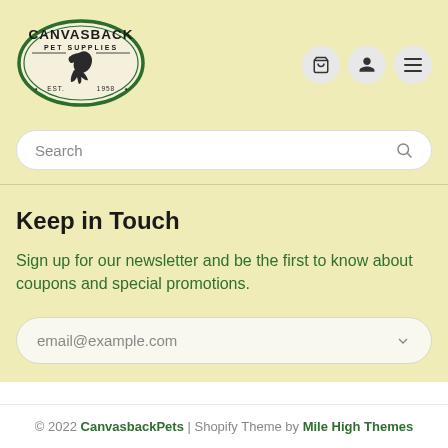[Figure (logo): Canvasback Pet Supplies oval logo with horse illustration and EST. 1958]
Search
Keep in Touch
Sign up for our newsletter and be the first to know about coupons and special promotions.
email@example.com
© 2022 CanvasbackPets | Shopify Theme by Mile High Themes